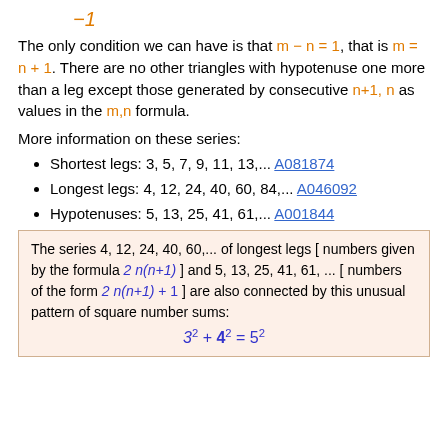The only condition we can have is that m − n = 1, that is m = n + 1. There are no other triangles with hypotenuse one more than a leg except those generated by consecutive n+1, n as values in the m,n formula.
More information on these series:
Shortest legs: 3, 5, 7, 9, 11, 13,... A081874
Longest legs: 4, 12, 24, 40, 60, 84,... A046092
Hypotenuses: 5, 13, 25, 41, 61,... A001844
The series 4, 12, 24, 40, 60,... of longest legs [ numbers given by the formula 2 n(n+1) ] and 5, 13, 25, 41, 61, ... [ numbers of the form 2 n(n+1) + 1 ] are also connected by this unusual pattern of square number sums: 3^2 + 4^2 = 5^2